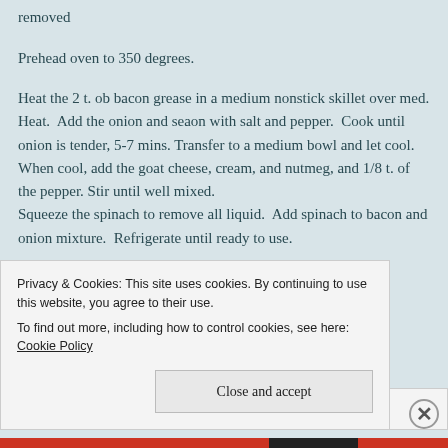removed
Prehead oven to 350 degrees.
Heat the 2 t. ob bacon grease in a medium nonstick skillet over med. Heat. Add the onion and seaon with salt and pepper. Cook until onion is tender, 5-7 mins. Transfer to a medium bowl and let cool. When cool, add the goat cheese, cream, and nutmeg, and 1/8 t. of the pepper. Stir until well mixed.
Squeeze the spinach to remove all liquid. Add spinach to bacon and onion mixture. Refrigerate until ready to use.
Privacy & Cookies: This site uses cookies. By continuing to use this website, you agree to their use.
To find out more, including how to control cookies, see here: Cookie Policy
Close and accept